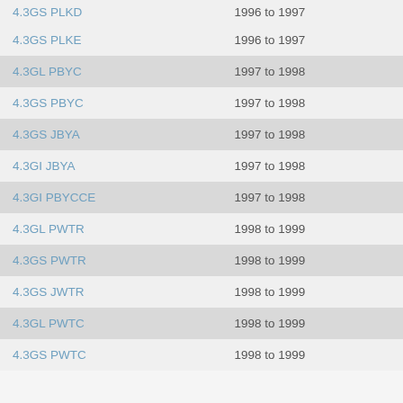| Code | Years |
| --- | --- |
| 4.3GS PLKD | 1996 to 1997 |
| 4.3GS PLKE | 1996 to 1997 |
| 4.3GL PBYC | 1997 to 1998 |
| 4.3GS PBYC | 1997 to 1998 |
| 4.3GS JBYA | 1997 to 1998 |
| 4.3GI JBYA | 1997 to 1998 |
| 4.3GI PBYCCE | 1997 to 1998 |
| 4.3GL PWTR | 1998 to 1999 |
| 4.3GS PWTR | 1998 to 1999 |
| 4.3GS JWTR | 1998 to 1999 |
| 4.3GL PWTC | 1998 to 1999 |
| 4.3GS PWTC | 1998 to 1999 |